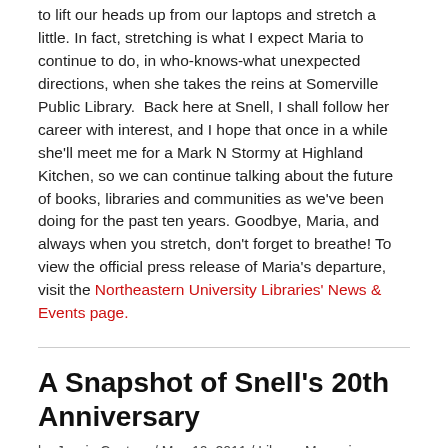to lift our heads up from our laptops and stretch a little. In fact, stretching is what I expect Maria to continue to do, in who-knows-what unexpected directions, when she takes the reins at Somerville Public Library.  Back here at Snell, I shall follow her career with interest, and I hope that once in a while she'll meet me for a Mark N Stormy at Highland Kitchen, so we can continue talking about the future of books, libraries and communities as we've been doing for the past ten years. Goodbye, Maria, and always when you stretch, don't forget to breathe! To view the official press release of Maria's departure, visit the Northeastern University Libraries' News & Events page.
A Snapshot of Snell's 20th Anniversary
by Jessie Contour / May 10, 2011 / Library Memories, Library News